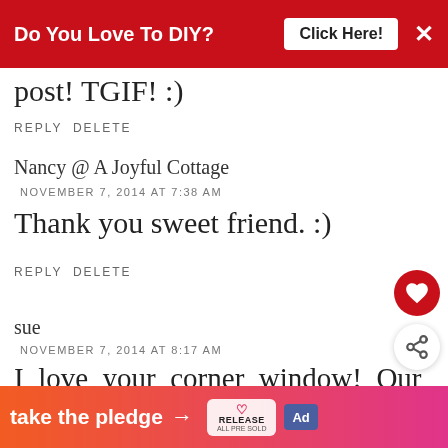Do You Love To DIY? Click Here! ×
post! TGIF! :)
REPLY DELETE
Nancy @ A Joyful Cottage
NOVEMBER 7, 2014 AT 7:38 AM
Thank you sweet friend. :)
REPLY DELETE
sue
NOVEMBER 7, 2014 AT 8:17 AM
I love your corner window! Our
[Figure (other): What's Next widget showing Cottage Style Family Room thumbnail]
take the pledge →